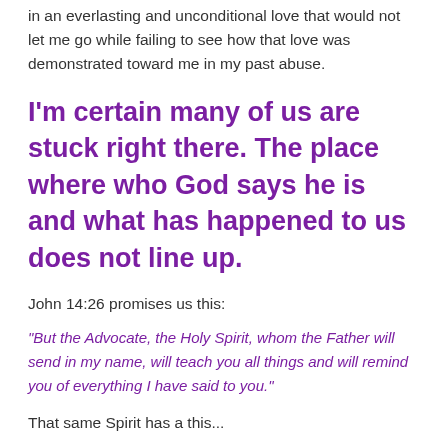in an everlasting and unconditional love that would not let me go while failing to see how that love was demonstrated toward me in my past abuse.
I'm certain many of us are stuck right there.  The place where who God says he is and what has happened to us does not line up.
John 14:26 promises us this:
“But the Advocate, the Holy Spirit, whom the Father will send in my name, will teach you all things and will remind you of everything I have said to you.”
That same Spirit has a this...